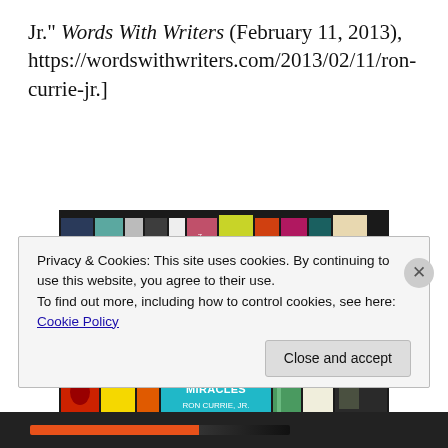Jr." Words With Writers (February 11, 2013),  https://wordswithwriters.com/2013/02/11/ron-currie-jr.]
[Figure (photo): A bookshelf with colorful books. The prominently featured book in the center has a teal/turquoise cover reading 'FLIMSY LITTLE PLASTIC MIRACLES RON CURRIE, JR.' Other books surround it on two shelves.]
Privacy & Cookies: This site uses cookies. By continuing to use this website, you agree to their use.
To find out more, including how to control cookies, see here: Cookie Policy
Close and accept